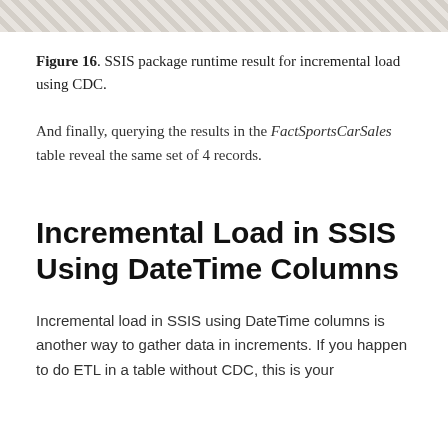[Figure (screenshot): Top portion of a screenshot showing SSIS package runtime result]
Figure 16. SSIS package runtime result for incremental load using CDC.
And finally, querying the results in the FactSportsCarSales table reveal the same set of 4 records.
Incremental Load in SSIS Using DateTime Columns
Incremental load in SSIS using DateTime columns is another way to gather data in increments. If you happen to do ETL in a table without CDC, this is your